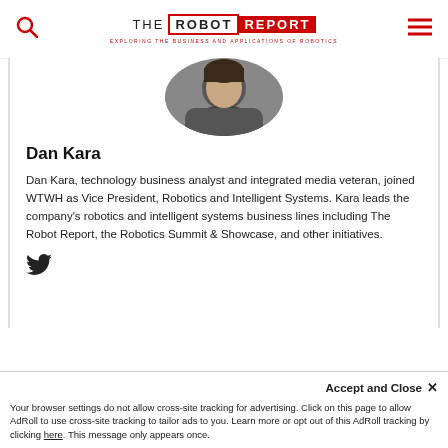THE ROBOT REPORT — EXPLORING THE BUSINESS AND APPLICATIONS OF ROBOTICS
[Figure (photo): Circular cropped headshot photo of Dan Kara, a person wearing dark clothing against a grey background]
Dan Kara
Dan Kara, technology business analyst and integrated media veteran, joined WTWH as Vice President, Robotics and Intelligent Systems. Kara leads the company's robotics and intelligent systems business lines including The Robot Report, the Robotics Summit & Showcase, and other initiatives.
[Figure (logo): Twitter bird icon]
Accept and Close ×
Your browser settings do not allow cross-site tracking for advertising. Click on this page to allow AdRoll to use cross-site tracking to tailor ads to you. Learn more or opt out of this AdRoll tracking by clicking here. This message only appears once.